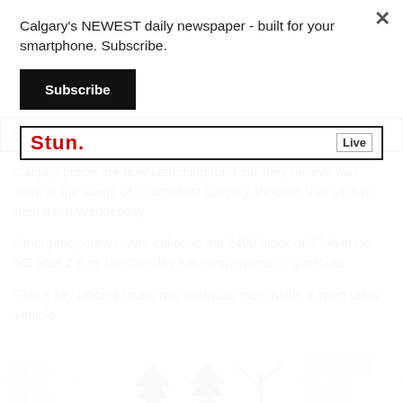Calgary's NEWEST daily newspaper - built for your smartphone. Subscribe.
Subscribe
[Figure (screenshot): Partial view of a news website banner with red logo text 'Stun' and 'Live' text on right side]
Calgary police are now searching for a car they believe was seen at the scene of a northeast Calgary shooting that left two men dead Wednesday.
Emergency crews were called to the 2400 block of 37 Avenue NE after 2 a.m. Wednesday following reports of gunshots.
Police say officers found two wounded men inside a sport utility vehicle.
[Figure (photo): Outdoor photo showing trees in winter (bare and evergreen) with residential building in background]